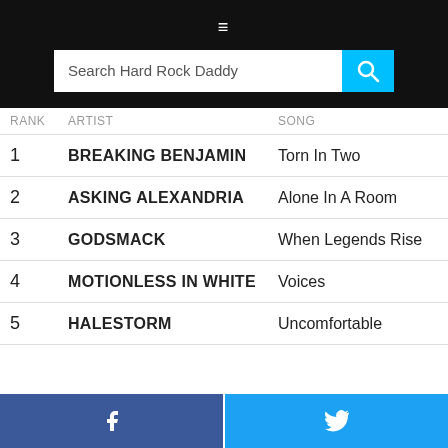☰
| RANK | ARTIST | SONG |
| --- | --- | --- |
| 1 | BREAKING BENJAMIN | Torn In Two |
| 2 | ASKING ALEXANDRIA | Alone In A Room |
| 3 | GODSMACK | When Legends Rise |
| 4 | MOTIONLESS IN WHITE | Voices |
| 5 | HALESTORM | Uncomfortable |
Facebook share | Twitter share